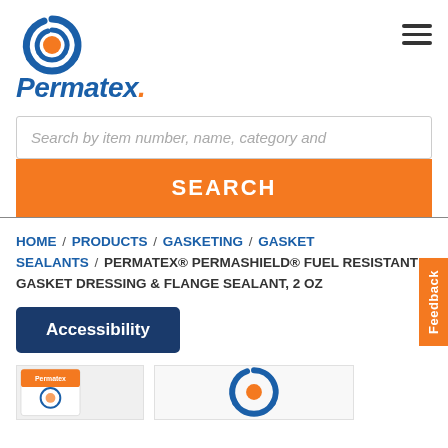[Figure (logo): Permatex logo with blue swirl icon and orange dot, blue italic bold text 'Permatex.']
[Figure (other): Hamburger menu icon with three horizontal lines]
Search by item number, name, category and
SEARCH
Feedback
HOME / PRODUCTS / GASKETING / GASKET SEALANTS / PERMATEX® PERMASHIELD® FUEL RESISTANT GASKET DRESSING & FLANGE SEALANT, 2 OZ
Accessibility
[Figure (photo): Partial product image showing Permatex branded item on left]
[Figure (logo): Partial Permatex swirl logo in blue and orange on right]